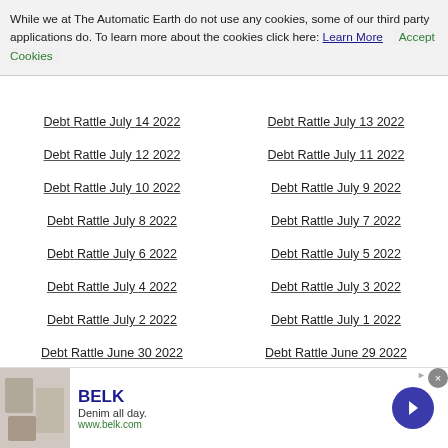While we at The Automatic Earth do not use any cookies, some of our third party applications do. To learn more about the cookies click here: Learn More   Accept Cookies
Debt Rattle July 14 2022
Debt Rattle July 13 2022
Debt Rattle July 12 2022
Debt Rattle July 11 2022
Debt Rattle July 10 2022
Debt Rattle July 9 2022
Debt Rattle July 8 2022
Debt Rattle July 7 2022
Debt Rattle July 6 2022
Debt Rattle July 5 2022
Debt Rattle July 4 2022
Debt Rattle July 3 2022
Debt Rattle July 2 2022
Debt Rattle July 1 2022
Debt Rattle June 30 2022
Debt Rattle June 29 2022
Debt Rattle June 28 2022
Debt Rattle June 27 2022
The Entire World Order Has Changed
Debt Rattle June 26 2022
[Figure (other): BELK advertisement banner with denim clothing image, brand name BELK, tagline Denim all day, URL www.belk.com, and a blue arrow button]